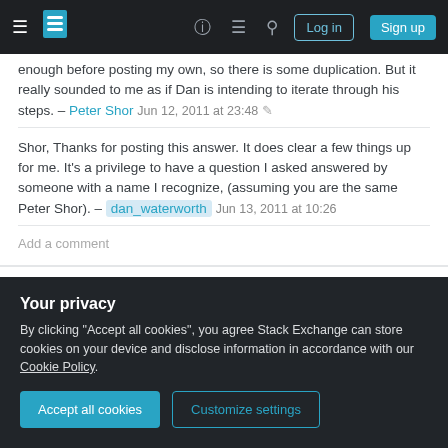Stack Exchange navigation bar with hamburger menu, logo, help, chat, search icons, Log in and Sign up buttons
enough before posting my own, so there is some duplication. But it really sounded to me as if Dan is intending to iterate through his steps. – Peter Shor Jun 12, 2011 at 23:48
Shor, Thanks for posting this answer. It does clear a few things up for me. It's a privilege to have a question I asked answered by someone with a name I recognize, (assuming you are the same Peter Shor). – dan_waterworth Jun 13, 2011 at 10:26
Add a comment
The information about an N-qubit computer is given by
Your privacy
By clicking "Accept all cookies", you agree Stack Exchange can store cookies on your device and disclose information in accordance with our Cookie Policy.
Accept all cookies
Customize settings